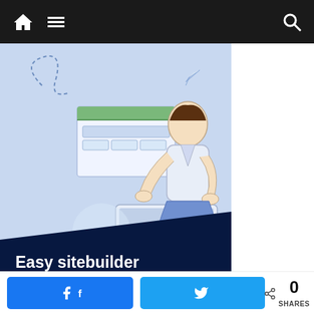Navigation bar with home icon, menu icon, and search icon
[Figure (illustration): Light blue background illustration showing a person sitting and working on a laptop. On the left side there is a dashed heart/loop line, a paper airplane, a browser window mockup with green header and table cells, and two padlock icons. A dark navy polygon overlay at the bottom of the image contains white bold text: 'Easy sitebuilder / Great support'. At the very bottom a partial green italic logo text is visible.]
Easy sitebuilder
Great support
Facebook share button | Twitter share button | 0 SHARES